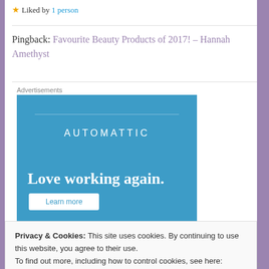★ Liked by 1 person
Pingback: Favourite Beauty Products of 2017! – Hannah Amethyst
Advertisements
[Figure (screenshot): Automattic advertisement banner with blue background, text 'AUTOMATTIC' and tagline 'Love working again.']
Privacy & Cookies: This site uses cookies. By continuing to use this website, you agree to their use. To find out more, including how to control cookies, see here: Cookie Policy
Close and accept